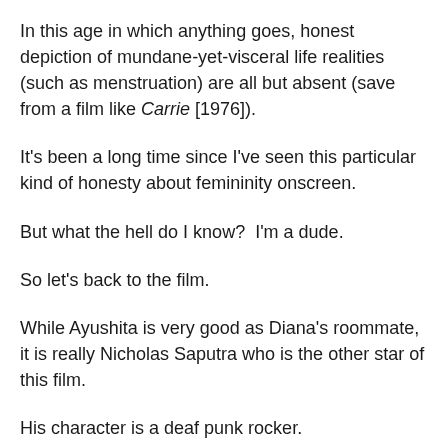In this age in which anything goes, honest depiction of mundane-yet-visceral life realities (such as menstruation) are all but absent (save from a film like Carrie [1976]).
It's been a long time since I've seen this particular kind of honesty about femininity onscreen.
But what the hell do I know?  I'm a dude.
So let's back to the film.
While Ayushita is very good as Diana's roommate, it is really Nicholas Saputra who is the other star of this film.
His character is a deaf punk rocker.
[Let that one sink in for a second]
Every day he has a different shirt.